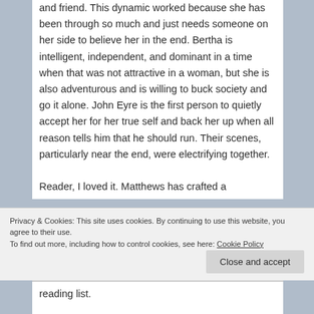and friend. This dynamic worked because she has been through so much and just needs someone on her side to believe her in the end. Bertha is intelligent, independent, and dominant in a time when that was not attractive in a woman, but she is also adventurous and is willing to buck society and go it alone. John Eyre is the first person to quietly accept her for her true self and back her up when all reason tells him that he should run. Their scenes, particularly near the end, were electrifying together.

Reader, I loved it. Matthews has crafted a
Privacy & Cookies: This site uses cookies. By continuing to use this website, you agree to their use.
To find out more, including how to control cookies, see here: Cookie Policy
reading list.